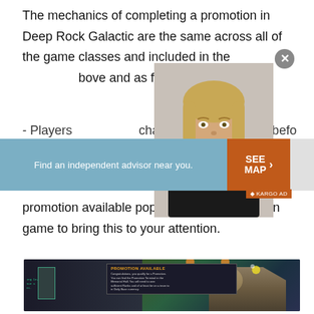The mechanics of completing a promotion in Deep Rock Galactic are the same across all of the game classes and included in the image above and as follows:
[Figure (photo): Woman in business attire (advisor photo from ad)]
[Figure (screenshot): Advertisement banner: 'Find an independent advisor near you.' with 'SEE MAP >' button and KARGO AD label. Close button (x) in top right.]
Players must have their character (red) level 25 before... promotion available pop-up will be available in game to bring this to your attention.
[Figure (screenshot): Game screenshot from Deep Rock Galactic showing a 'PROMOTION AVAILABLE' popup in the space station hub area with a character visible.]